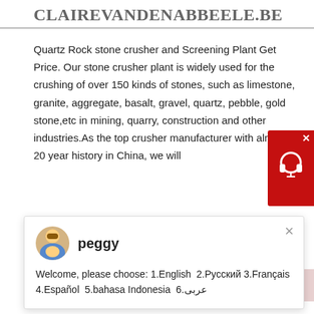CLAIREVANDENABBEELE.BE
Quartz Rock stone crusher and Screening Plant Get Price. Our stone crusher plant is widely used for the crushing of over 150 kinds of stones, such as limestone, granite, aggregate, basalt, gravel, quartz, pebble, gold stone,etc in mining, quarry, construction and other industries.As the top crusher manufacturer with almost 20 year history in China, we will
Welcome, please choose: 1.English  2.Русский 3.Français 4.Español  5.bahasa Indonesia  6.عربى
[Figure (photo): Aerial view of a quartzite crushing plant with workers and machinery on orange/brown soil]
MAJOR EQUIPMENT IN THE WHOLE PROCESS OF QUARTZITE